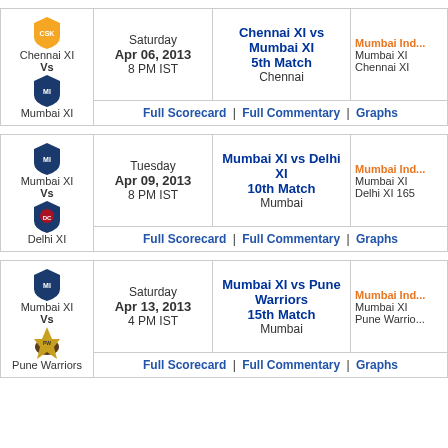| Team | Date | Match | Result | Links |
| --- | --- | --- | --- | --- |
| Chennai XI Vs Mumbai XI | Saturday Apr 06, 2013 8 PM IST | Chennai XI vs Mumbai XI 5th Match Chennai | Mumbai Ind... Mumbai XI Chennai XI | Full Scorecard | Full Commentary | Graphs |
| Mumbai XI Vs Delhi XI | Tuesday Apr 09, 2013 8 PM IST | Mumbai XI vs Delhi XI 10th Match Mumbai | Mumbai Ind... Mumbai XI Delhi XI 165 | Full Scorecard | Full Commentary | Graphs |
| Mumbai XI Vs Pune Warriors | Saturday Apr 13, 2013 4 PM IST | Mumbai XI vs Pune Warriors 15th Match Mumbai | Mumbai Ind... Mumbai XI Pune Warrio... | Full Scorecard | Full Commentary | Graphs |